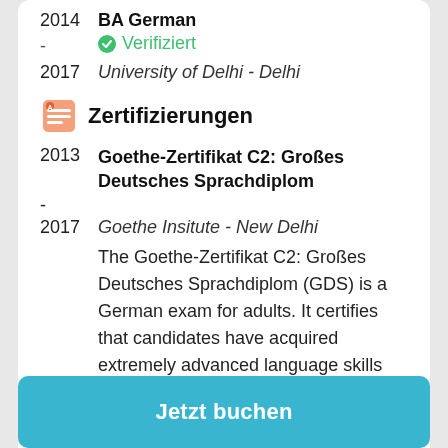2014  BA German
- Verifiziert
2017  University of Delhi - Delhi
Zertifizierungen
2013 - 2017  Goethe-Zertifikat C2: Großes Deutsches Sprachdiplom
Goethe Insitute - New Delhi
The Goethe-Zertifikat C2: Großes Deutsches Sprachdiplom (GDS) is a German exam for adults. It certifies that candidates have acquired extremely advanced language skills and corresponds to the sixth level (C2) on the six-level scale of competence laid down in the
Jetzt buchen